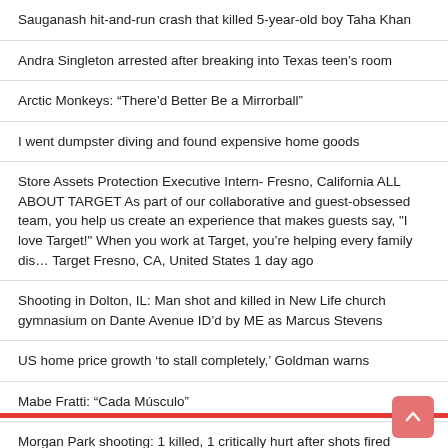Sauganash hit-and-run crash that killed 5-year-old boy Taha Khan
Andra Singleton arrested after breaking into Texas teen’s room
Arctic Monkeys: “There’d Better Be a Mirrorball”
I went dumpster diving and found expensive home goods
Store Assets Protection Executive Intern- Fresno, California ALL ABOUT TARGET As part of our collaborative and guest-obsessed team, you help us create an experience that makes guests say, "I love Target!" When you work at Target, you're helping every family dis… Target Fresno, CA, United States 1 day ago
Shooting in Dolton, IL: Man shot and killed in New Life church gymnasium on Dante Avenue ID’d by ME as Marcus Stevens
US home price growth ‘to stall completely,’ Goldman warns
Mabe Fratti: “Cada Músculo”
Morgan Park shooting: 1 killed, 1 critically hurt after shots fired outside 22nd Chicago police district station, department says
Serena Williams’ US Open 2022 outfit is highly symbolic